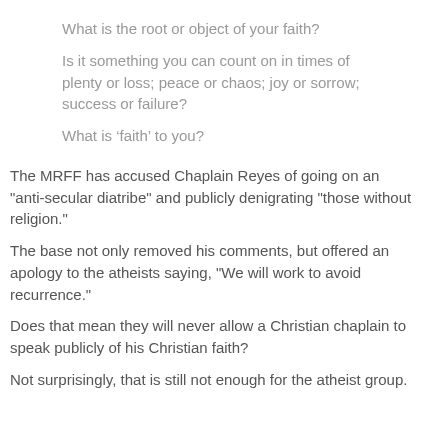What is the root or object of your faith?
Is it something you can count on in times of plenty or loss; peace or chaos; joy or sorrow; success or failure?
What is ‘faith’ to you?
The MRFF has accused Chaplain Reyes of going on an "anti-secular diatribe" and publicly denigrating "those without religion."
The base not only removed his comments, but offered an apology to the atheists saying, "We will work to avoid recurrence."
Does that mean they will never allow a Christian chaplain to speak publicly of his Christian faith?
Not surprisingly, that is still not enough for the atheist group.